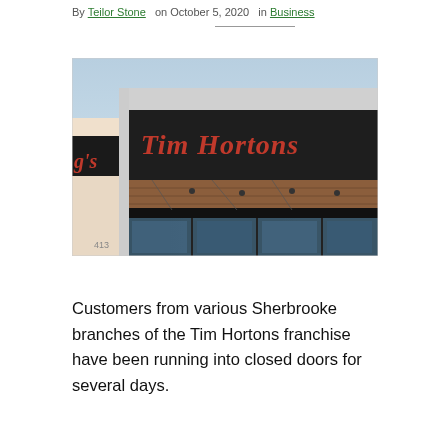By Teilor Stone  on October 5, 2020  in Business
[Figure (photo): Exterior photograph of a Tim Hortons restaurant building showing the large red Tim Hortons script sign on a dark grey facade with wood-panel accent trim, large glass windows at street level, and a clear blue sky in the background. Number 413 visible on the building corner.]
Customers from various Sherbrooke branches of the Tim Hortons franchise have been running into closed doors for several days.